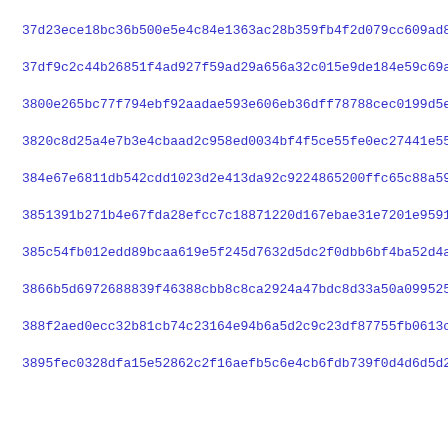37d23ece18bc36b500e5e4c84e1363ac28b359fb4f2d079cc609ad8bc46d1
37df9c2c44b26851f4ad927f59ad29a656a32c015e9de184e59c69abf6501
3800e265bc77f794ebf92aadae593e606eb36dff78788cec0199d5efd2628
3820c8d25a4e7b3e4cbaad2c958ed0034bf4f5ce55fe0ec27441e551c77c3
384e67e6811db542cdd1023d2e413da92c9224865200ffc65c88a593dd4c1
3851391b271b4e67fda28efcc7c18871220d167ebae31e7201e95910cd679
385c54fb012edd89bcaa619e5f245d7632d5dc2f0dbb6bf4ba52d4a59c9a1
3866b5d6972688839f46388cbb8c8ca2924a47bdc8d33a50a099525f23c13
388f2aed0ecc32b81cb74c23164e94b6a5d2c9c23df87755fb0613c2325fd
3895fec0328dfa15e52862c2f16aefb5c6e4cb6fdb739f0d4d6d5d2813a56